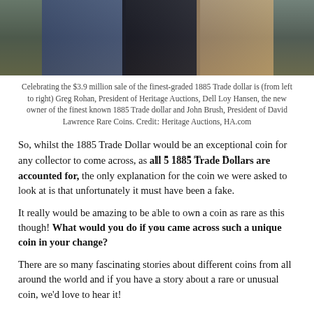[Figure (photo): Photo of three men celebrating the $3.9 million sale of the 1885 Trade dollar]
Celebrating the $3.9 million sale of the finest-graded 1885 Trade dollar is (from left to right) Greg Rohan, President of Heritage Auctions, Dell Loy Hansen, the new owner of the finest known 1885 Trade dollar and John Brush, President of David Lawrence Rare Coins. Credit: Heritage Auctions, HA.com
So, whilst the 1885 Trade Dollar would be an exceptional coin for any collector to come across, as all 5 1885 Trade Dollars are accounted for, the only explanation for the coin we were asked to look at is that unfortunately it must have been a fake.
It really would be amazing to be able to own a coin as rare as this though! What would you do if you came across such a unique coin in your change?
There are so many fascinating stories about different coins from all around the world and if you have a story about a rare or unusual coin, we'd love to hear it!